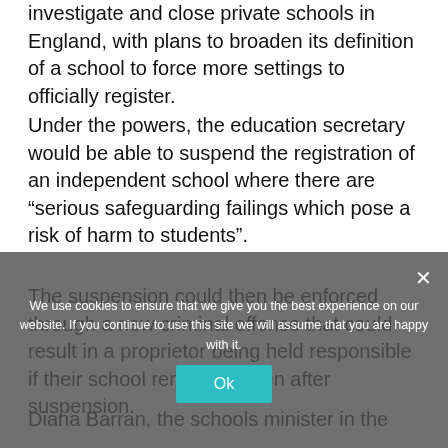investigate and close private schools in England, with plans to broaden its definition of a school to force more settings to officially register.
Under the powers, the education secretary would be able to suspend the registration of an independent school where there are “serious safeguarding failings which pose a risk of harm to students”.
The suspension could then be enforced through a new criminal offense that could result in a proprietor being held responsible if their school remained open after suspension.
Diana Barran, the schools minister in the
We use cookies to ensure that we give you the best experience on our website. If you continue to use this site we will assume that you are happy with it.